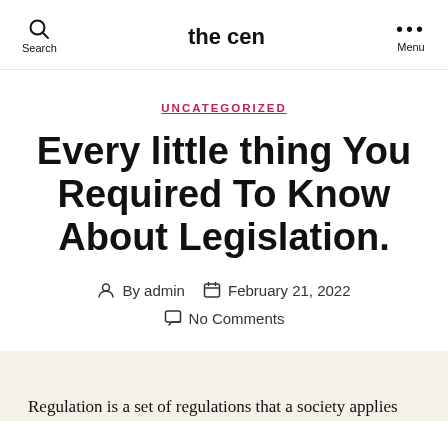the cen
UNCATEGORIZED
Every little thing You Required To Know About Legislation.
By admin  February 21, 2022  No Comments
Regulation is a set of regulations that a society applies